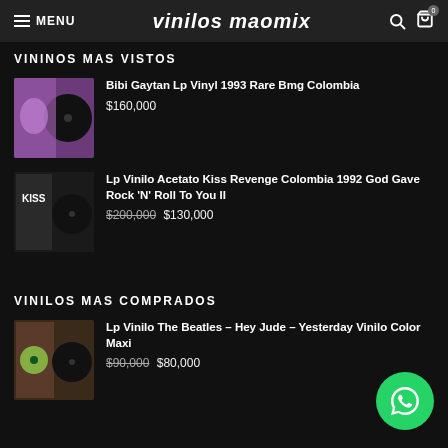MENU | vinilos maomix
VININOS MAS VISTOS
Bibi Gaytan Lp Vinyl 1993 Rare Bmg Colombia — $160,000
Lp Vinilo Acetato Kiss Revenge Colombia 1992 God Gave Rock 'N' Roll To You II — $200,000 $130,000
VINILOS MAS COMPRADOS
Lp Vinilo The Beatles – Hey Jude – Yesterday Vinilo Color Maxi — $90,000 $80,000